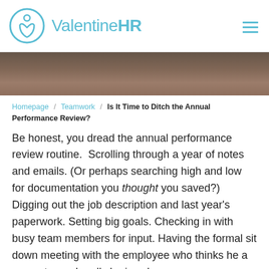ValentineHR
[Figure (illustration): Dark wooden background hero image strip]
Homepage / Teamwork / Is It Time to Ditch the Annual Performance Review?
Be honest, you dread the annual performance review routine.  Scrolling through a year of notes and emails. (Or perhaps searching high and low for documentation you thought you saved?) Digging out the job description and last year's paperwork. Setting big goals. Checking in with busy team members for input. Having the formal sit down meeting with the employee who thinks he a superstar and really he is subpar.